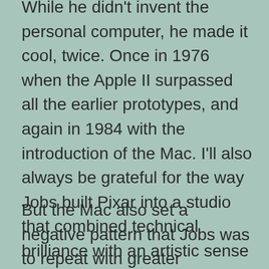While he didn't invent the personal computer, he made it cool, twice. Once in 1976 when the Apple II surpassed all the earlier prototypes, and again in 1984 with the introduction of the Mac. I'll also always be grateful for the way Jobs built Pixar into a studio that combined technical brilliance with an artistic sense and moral centeredness that has perhaps been equaled in the history of animated art, but never exceeded.
But the Mac also set a negative pattern that Jobs was to repeat with greater amplification later in his life. In two respects; first, it was a